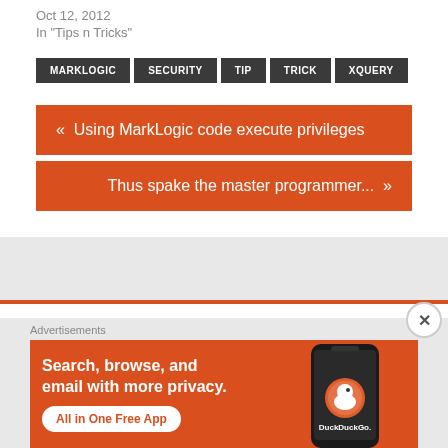Oct 12, 2012
In "Tips n Tricks"
MARKLOGIC
SECURITY
TIP
TRICK
XQUERY
« Using MarkLogic code execute privileges
Thus spake the master programmer... »
LEAVE A REPLY
Advertisements
[Figure (infographic): DuckDuckGo advertisement banner: Search, browse, and email with more privacy. All in One Free App. Shows a phone with DuckDuckGo logo.]